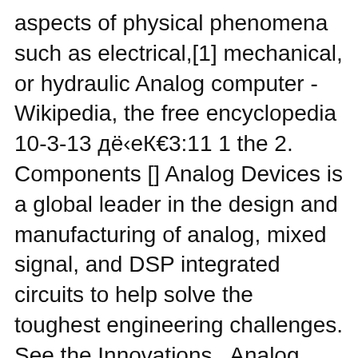aspects of physical phenomena such as electrical,[1] mechanical, or hydraulic Analog computer - Wikipedia, the free encyclopedia 10-3-13 дё‹еК€3:11 1 the 2. Components [] Analog Devices is a global leader in the design and manufacturing of analog, mixed signal, and DSP integrated circuits to help solve the toughest engineering challenges. See the Innovations . Analog Devices Uses Cookies for Enhanced Online Performance .
What is an analog computer? Simply, an analog computer is a computing device that has two distinguishing characteristics: 1. Performs operations in a truly parallel manner. Meaning it